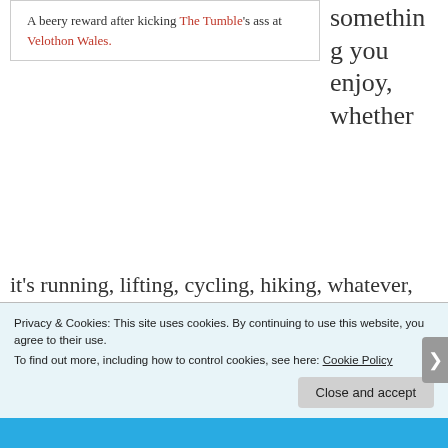A beery reward after kicking The Tumble's ass at Velothon Wales.
something you enjoy, whether it's running, lifting, cycling, hiking, whatever, and set a goal that will make you happy when you achieve it. Maybe you'll run a marathon, maybe you'll enter a ballroom dancing competition, maybe you'll walk the Great Wall of China! Whatever it is, the adventure is
Privacy & Cookies: This site uses cookies. By continuing to use this website, you agree to their use.
To find out more, including how to control cookies, see here: Cookie Policy
Close and accept